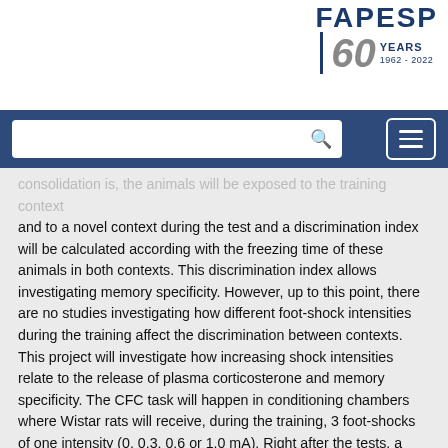[Figure (logo): FAPESP 60 Years (1962-2022) logo in top right corner]
[Figure (screenshot): Website navigation bar with search box and hamburger menu button on navy blue background]
consolidation is, the animals will be exposed to the training context and to a novel context during the test and a discrimination index will be calculated according with the freezing time of these animals in both contexts. This discrimination index allows investigating memory specificity. However, up to this point, there are no studies investigating how different foot-shock intensities during the training affect the discrimination between contexts. This project will investigate how increasing shock intensities relate to the release of plasma corticosterone and memory specificity. The CFC task will happen in conditioning chambers where Wistar rats will receive, during the training, 3 foot-shocks of one intensity (0, 0.3, 0.6 or 1.0 mA). Right after the tests, a discrimination index will be calculated. Possible correlations between these variables will be analised. The results obtained in this experiment will contribute to a better understanding of how precise are the memories modulated by glucocorticoids. (AU)